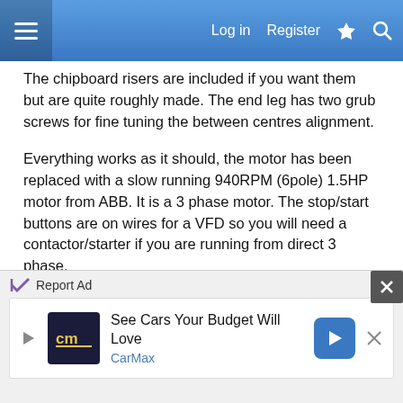Log in  Register
The chipboard risers are included if you want them but are quite roughly made. The end leg has two grub screws for fine tuning the between centres alignment.
Everything works as it should, the motor has been replaced with a slow running 940RPM (6pole) 1.5HP motor from ABB. It is a 3 phase motor. The stop/start buttons are on wires for a VFD so you will need a contactor/starter if you are running from direct 3 phase.
I replaced the bearings with sealed units, but removed the two seals on the inside so the grease can still be topped up.
I did manage to get this into a hatchback when I
[Figure (screenshot): Advertisement banner: Report Ad bar with close button, CarMax ad showing logo, 'See Cars Your Budget Will Love' text, and blue arrow icon]